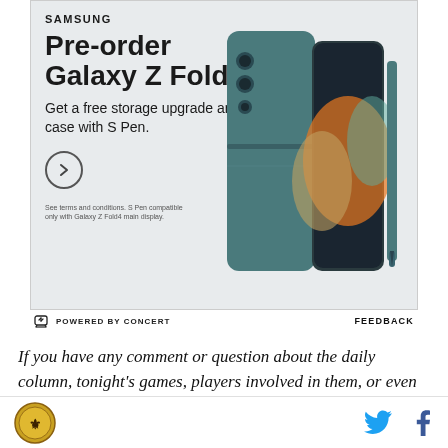[Figure (infographic): Samsung advertisement for Galaxy Z Fold4 pre-order. Light gray background with Samsung logo at top, large bold headline 'Pre-order Galaxy Z Fold4', subtext 'Get a free storage upgrade and case with S Pen.', a circular arrow button, fine print disclaimer, and a product image of the Galaxy Z Fold4 phone in teal/slate blue with S Pen on the right side.]
⚡ POWERED BY CONCERT    FEEDBACK
If you have any comment or question about the daily column, tonight's games, players involved in them, or even season-long fantasy NBA topics, just drop it
[Figure (logo): Site logo (circular badge) at bottom left, Twitter bird icon and Facebook f icon at bottom right]